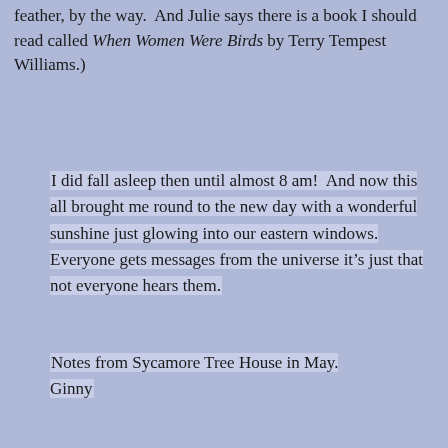feather, by the way.  And Julie says there is a book I should read called When Women Were Birds by Terry Tempest Williams.)
I did fall asleep then until almost 8 am!  And now this all brought me round to the new day with a wonderful sunshine just glowing into our eastern windows. Everyone gets messages from the universe it’s just that not everyone hears them.
Notes from Sycamore Tree House in May.
Ginny